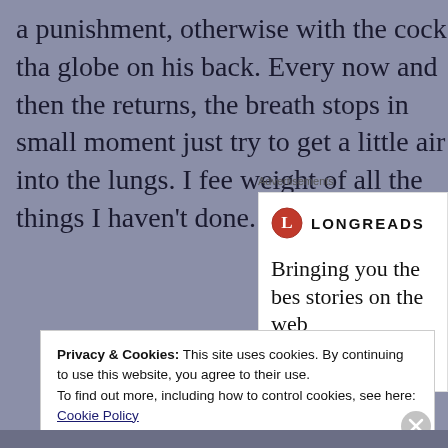a punishment, otherwise with the cock that globe on his back. Every now and then the returns, the breath stops in small moments, just try to get a little air into the lungs. I feel the weight of all the things I haven't done.
Advertisements
[Figure (logo): Longreads logo with red circle containing white L and text LONGREADS, with tagline 'Bringing you the best stories on the web']
Privacy & Cookies: This site uses cookies. By continuing to use this website, you agree to their use.
To find out more, including how to control cookies, see here: Cookie Policy
Close and accept